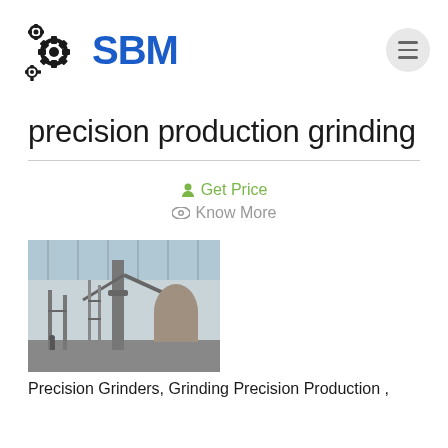[Figure (logo): SBM company logo with gear/cog icon in black and blue bold text 'SBM']
precision production grinding
Get Price
Know More
[Figure (photo): Industrial grinding/milling equipment inside a large factory or warehouse with tall machinery and scaffolding]
Precision Grinders, Grinding Precision Production ,